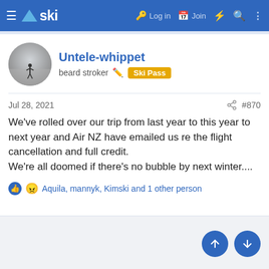ski — Log in  Join
Untele-whippet
beard stroker  Ski Pass
Jul 28, 2021  #870
We've rolled over our trip from last year to this year to next year and Air NZ have emailed us re the flight cancellation and full credit.
We're all doomed if there's no bubble by next winter....
Aquila, mannyk, Kimski and 1 other person